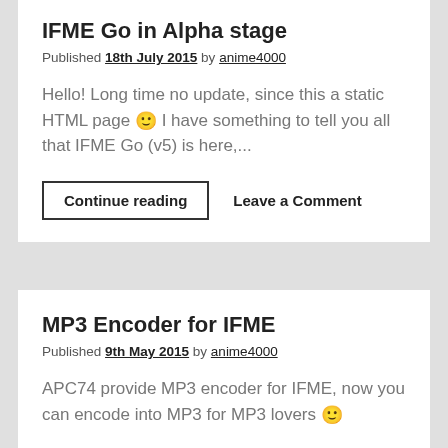IFME Go in Alpha stage
Published 18th July 2015 by anime4000
Hello! Long time no update, since this a static HTML page 🙂 I have something to tell you all that IFME Go (v5) is here,...
Continue reading   Leave a Comment
MP3 Encoder for IFME
Published 9th May 2015 by anime4000
APC74 provide MP3 encoder for IFME, now you can encode into MP3 for MP3 lovers 🙂
Leave a Comment